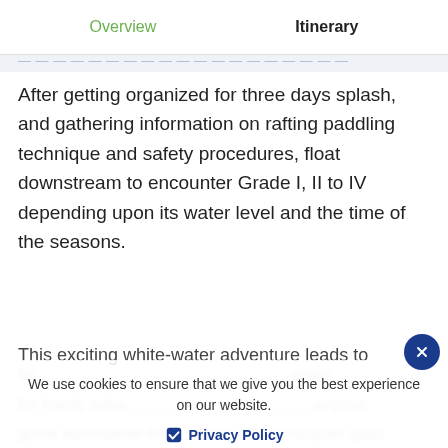Overview | Itinerary
After getting organized for three days splash, and gathering information on rafting paddling technique and safety procedures, float downstream to encounter Grade I, II to IV depending upon its water level and the time of the seasons.
This exciting white-water adventure leads to [blurred content] for hardy adve[nturers] ... enjoy great adrenaline thrill, rafting the himalayan glacier rivers.
We use cookies to ensure that we give you the best experience on our website.
Privacy Policy
Allow Cookies
A[blurred bottom text]